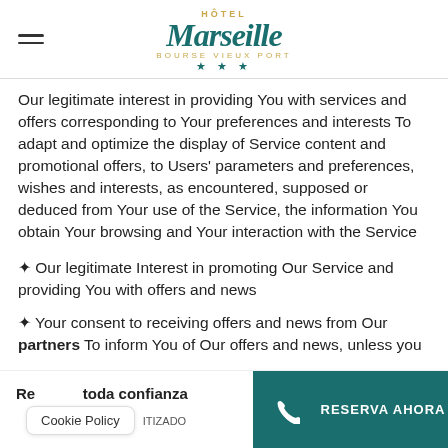HÔTEL Marseille BOURSE VIEUX PORT ★★★
Our legitimate interest in providing You with services and offers corresponding to Your preferences and interests To adapt and optimize the display of Service content and promotional offers, to Users' parameters and preferences, wishes and interests, as encountered, supposed or deduced from Your use of the Service, the information You obtain Your browsing and Your interaction with the Service
✦ Our legitimate Interest in promoting Our Service and providing You with offers and news
✦ Your consent to receiving offers and news from Our partners To inform You of Our offers and news, unless you
Reserva con toda confianza | Cookie Policy | GARANTIZADO | RESERVA AHORA